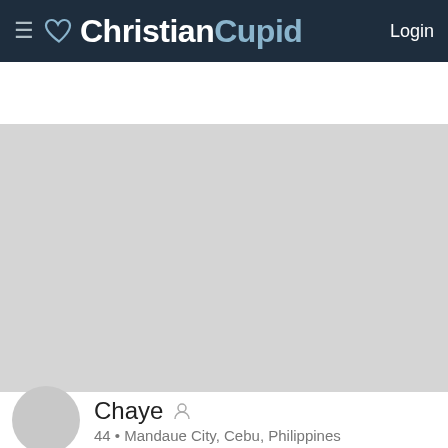ChristianCupid Login
[Figure (photo): Gray placeholder profile photo area]
I am Honest, Kind, Patience, Faithful, Diligent, Loyal, Reliable, I am always the first person that my friends call...
Chaye • 44 • Mandaue City, Cebu, Philippines